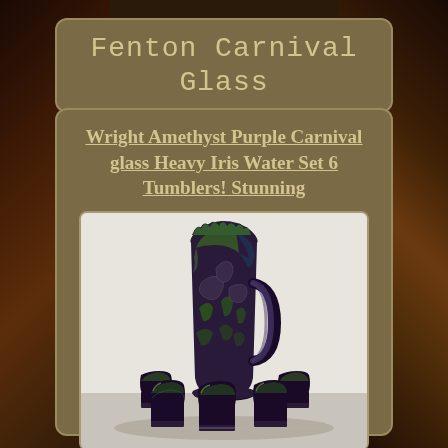Fenton Carnival Glass
Wright Amethyst Purple Carnival glass Heavy Iris Water Set 6 Tumblers! Stunning
[Figure (photo): Amethyst purple carnival glass water set featuring a tall Heavy Iris pattern pitcher with ruffled top and handle, surrounded by 6 matching tumblers, displayed on a white/light gray surface. The glass has an iridescent dark purple-green metallic finish.]